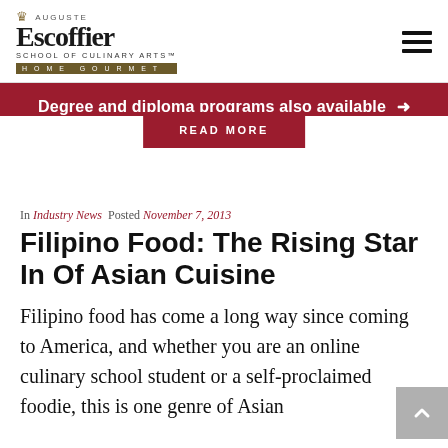Auguste Escoffier School of Culinary Arts Home Gourmet
Degree and diploma programs also available →
READ MORE
In Industry News  Posted November 7, 2013
Filipino Food: The Rising Star In Of Asian Cuisine
Filipino food has come a long way since coming to America, and whether you are an online culinary school student or a self-proclaimed foodie, this is one genre of Asian